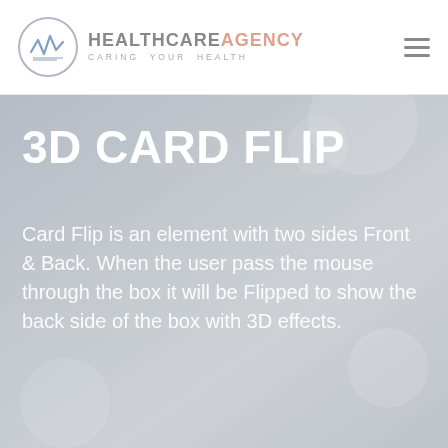HEALTHCARE AGENCY — CARING YOUR HEALTH
3D CARD FLIP
Card Flip is an element with two sides Front & Back. When the user pass the mouse through the box it will be Flipped to show the back side of the box with 3D effects.